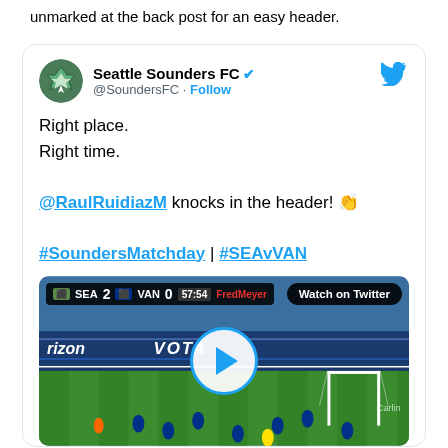unmarked at the back post for an easy header.
[Figure (screenshot): Tweet from Seattle Sounders FC (@SoundersFC) with text: 'Right place. Right time. @RaulRuidiazM knocks in the header! 👏 #SoundersMatchday | #SEAvVAN' with embedded video thumbnail showing a soccer match scoreline SEA 2 VAN 0 at 57:54 with a play button overlay and Watch on Twitter button]